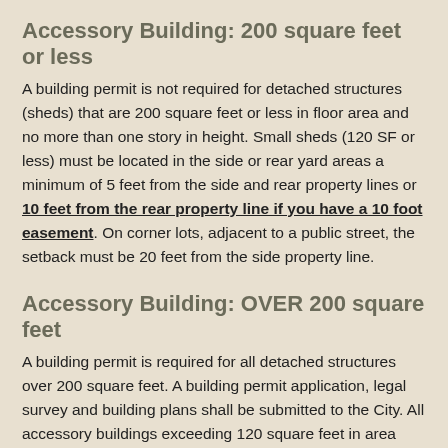Accessory Building: 200 square feet or less
A building permit is not required for detached structures (sheds) that are 200 square feet or less in floor area and no more than one story in height. Small sheds (120 SF or less) must be located in the side or rear yard areas a minimum of 5 feet from the side and rear property lines or 10 feet from the rear property line if you have a 10 foot easement. On corner lots, adjacent to a public street, the setback must be 20 feet from the side property line.
Accessory Building: OVER 200 square feet
A building permit is required for all detached structures over 200 square feet. A building permit application, legal survey and building plans shall be submitted to the City. All accessory buildings exceeding 120 square feet in area shall be setback a minimum of 30 feet from the front property line, 5 feet from a side property line (20 feet on corner lots) and 10 feet from the Rear lot line. Accessory buildings should be set back 5 feet from the house, less than 5 feet can be approved if appropriate fire protection is provided. Contact a Building Inspector for the specific details. The maximum size for all detached structures is